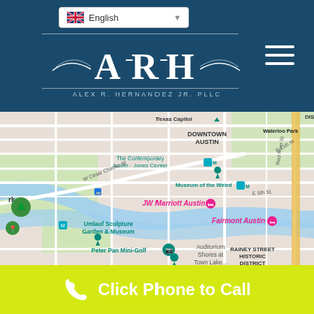ARH - Alex R. Hernandez Jr. PLLC
[Figure (screenshot): Language dropdown selector showing English with US flag icon]
[Figure (logo): ARH Alex R. Hernandez Jr. PLLC law firm logo in white on dark teal background]
[Figure (map): Google Maps view of Downtown Austin, Texas showing landmarks including Texas Capitol, Waterloo Park, The Contemporary Austin Jones Center, Museum of the Weird, JW Marriott Austin, Fairmont Austin, Umlauf Sculpture Garden and Museum, Auditorium Shores at Town Lake, Peter Pan Mini-Golf, and Rainey Street Historic District. Also shows Zilker neighborhood and I-35.]
Click Phone to Call